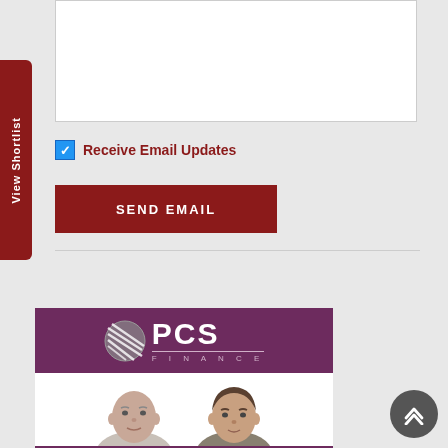[Textarea input area]
Receive Email Updates
SEND EMAIL
[Figure (logo): PCS Finance logo with globe/disc icon and company name on dark purple/maroon background, with two men's photos below]
View Shortlist